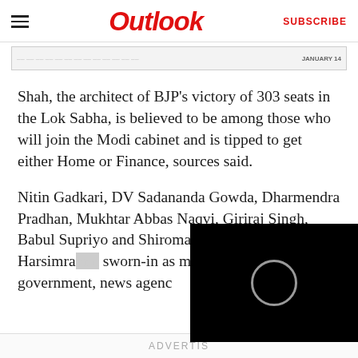Outlook  SUBSCRIBE
[Figure (screenshot): Advertisement banner strip at top of page]
Shah, the architect of BJP's victory of 303 seats in the Lok Sabha, is believed to be among those who will join the Modi cabinet and is tipped to get either Home or Finance, sources said.
Nitin Gadkari, DV Sadananda Gowda, Dharmendra Pradhan, Mukhtar Abbas Naqvi, Giriraj Singh, Babul Supriyo and Shiromani Akali Dal leader Harsimra... sworn-in as ministers in... government, news agenc...
[Figure (screenshot): Video player overlay showing black background with circular play/loading indicator]
ADVERTIS...